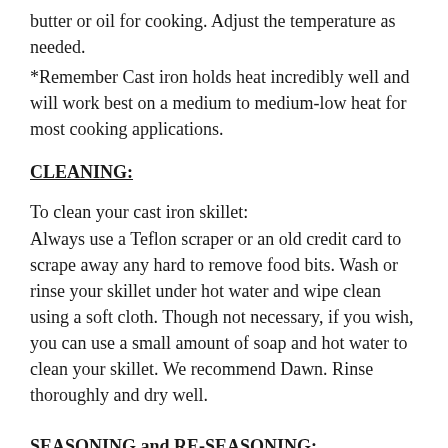butter or oil for cooking. Adjust the temperature as needed.
*Remember Cast iron holds heat incredibly well and will work best on a medium to medium-low heat for most cooking applications.
CLEANING:
To clean your cast iron skillet:
Always use a Teflon scraper or an old credit card to scrape away any hard to remove food bits. Wash or rinse your skillet under hot water and wipe clean using a soft cloth. Though not necessary, if you wish, you can use a small amount of soap and hot water to clean your skillet. We recommend Dawn. Rinse thoroughly and dry well.
SEASONING and RE-SEASONING: